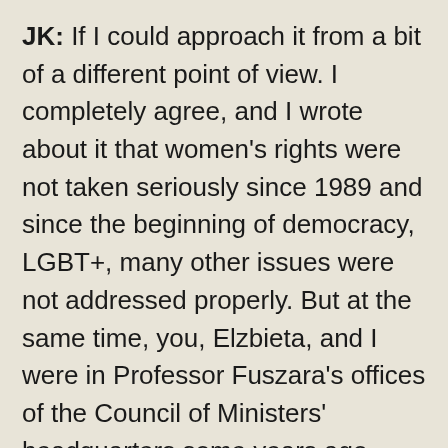JK: If I could approach it from a bit of a different point of view. I completely agree, and I wrote about it that women's rights were not taken seriously since 1989 and since the beginning of democracy, LGBT+, many other issues were not addressed properly. But at the same time, you, Elzbieta, and I were in Professor Fuszara's offices of the Council of Ministers' headquarters some years ago (2015) when she was giving the Courage in Public Scholarship Award to Ann Snitow. This was the previous government we had. So even trying to imagine something similar with today's government, which basically uses anti-women and anti-feminist